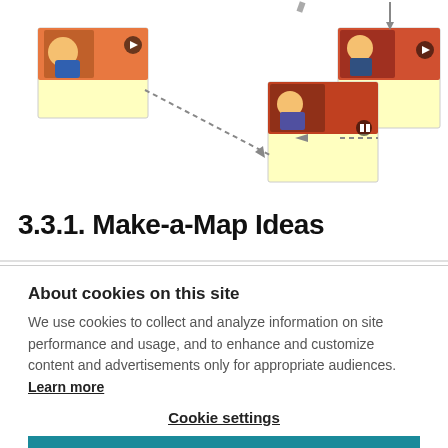[Figure (flowchart): A flowchart/concept map showing three video thumbnail cards connected by dashed arrows. Left card shows 'Moby has been busy lately.' Middle card shows 'Moby hasn't even sent an email.' Right card shows 'Ben hasn't heard from Moby for 3 hours.' Arrows connect right to middle and left cards with dashed lines.]
3.3.1. Make-a-Map Ideas
About cookies on this site
We use cookies to collect and analyze information on site performance and usage, and to enhance and customize content and advertisements only for appropriate audiences. Learn more
Cookie settings
ALLOW ALL COOKIES